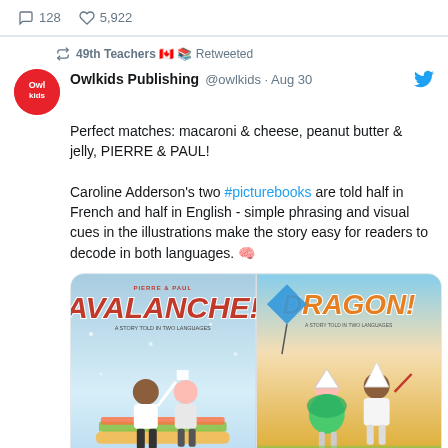128  5,922
49th Teachers 🇨🇦 📚 Retweeted
Owlkids Publishing @owlkids · Aug 30
Perfect matches: macaroni & cheese, peanut butter & jelly, PIERRE & PAUL!

Caroline Adderson's two #picturebooks are told half in French and half in English - simple phrasing and visual cues in the illustrations make the story easy for readers to decode in both languages. 🧠
[Figure (photo): Two children's book covers side by side: left shows 'PIERRE & PAUL: AVALANCHE!' with two cartoon children standing on a sandwich, set against a snowy blue background; right shows 'DRAGON!' with two cartoon children in costume against a warm yellow-orange background.]